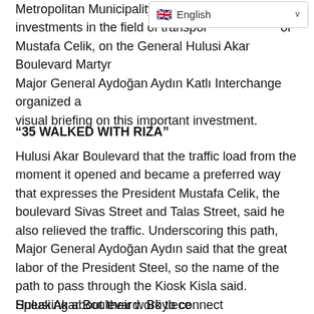English (language selector)
Metropolitan Municipality, adding a investments in the field of transport Mayor Mustafa Celik, on the General Hulusi Akar Boulevard Martyr Major General Aydoğan Aydın Katlı Interchange organized a visual briefing on this important investment.
“35 WALKED WITH RIZA”
Hulusi Akar Boulevard that the traffic load from the moment it opened and became a preferred way that expresses the President Mustafa Celik, the boulevard Sivas Street and Talas Street, said he also relieved the traffic. Underscoring this path, Major General Aydoğan Aydın said that the great labor of the President Steel, so the name of the path to pass through the Kiosk Kisla said. Speaking about their work to connect
Privacy and Cookies: This site uses cookies. By continuing to use this website, you agree to their use.
For more information on how to check cookies, see here: Cookie Policy
OK
Hulusi Akar Boulevard. Böylece